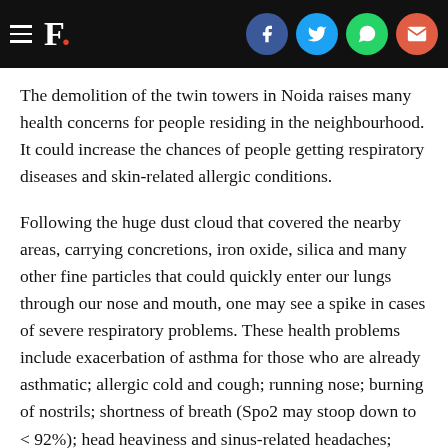F. [with social share icons: Facebook, Twitter, WhatsApp, Email]
The demolition of the twin towers in Noida raises many health concerns for people residing in the neighbourhood. It could increase the chances of people getting respiratory diseases and skin-related allergic conditions.
Following the huge dust cloud that covered the nearby areas, carrying concretions, iron oxide, silica and many other fine particles that could quickly enter our lungs through our nose and mouth, one may see a spike in cases of severe respiratory problems. These health problems include exacerbation of asthma for those who are already asthmatic; allergic cold and cough; running nose; burning of nostrils; shortness of breath (Spo2 may stoop down to < 92%); head heaviness and sinus-related headaches; Silicosis in long term; and, bleeding from the nose due to excessive dryness.
It may further cause skin-related allergies, rashes, itching and